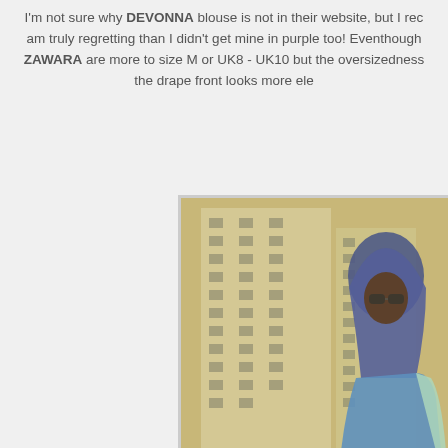I'm not sure why DEVONNA blouse is not in their website, but I rec am truly regretting than I didn't get mine in purple too! Eventhough ZAWARA are more to size M or UK8 - UK10 but the oversizedness the drape front looks more ele
[Figure (photo): A woman wearing a blue hijab and sunglasses, dressed in a blue drape blouse, standing in front of a blurred high-rise building. The photo has a vintage/sepia-toned filtered look.]